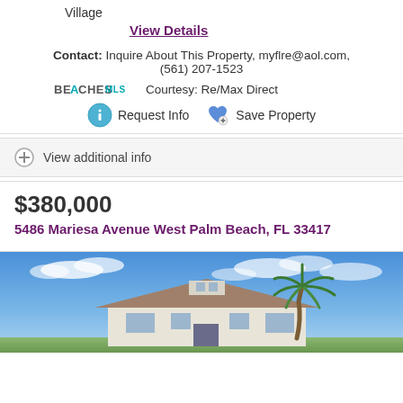Village
View Details
Contact: Inquire About This Property, myflre@aol.com, (561) 207-1523
BEACHES MLS Courtesy: Re/Max Direct
Request Info  Save Property
View additional info
$380,000
5486 Mariesa Avenue West Palm Beach, FL 33417
[Figure (photo): Exterior photo of a single-story house with a tan/brown roof under a blue sky with scattered clouds, with a palm tree in the foreground.]